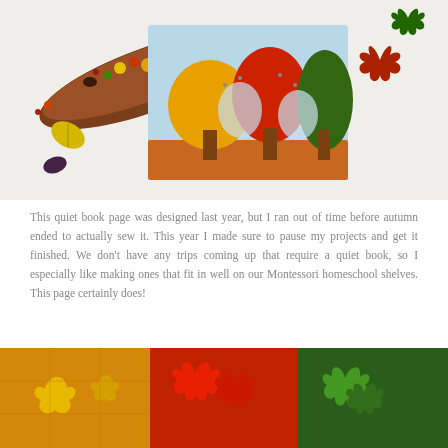[Figure (photo): A flatlay photo of a handmade felt quiet book page with an autumn tree scene (trees with orange, red, and green felt leaves against a light blue sky and brown ground), surrounded by real autumn leaves, small flowers, and a wooden boat-shaped tray filled with colorful flowers and small items.]
This quiet book page was designed last year, but I ran out of time before autumn ended to actually sew it. This year I made sure to pause my projects and get it finished. We don't have any trips coming up that require a quiet book, so I especially like making ones that fit in well on our Montessori homeschool shelves. This page certainly does!
[Figure (photo): A close-up photo of a felt quiet book page divided into sections showing autumn leaves in yellow/gold, red, and green colors on a textured felt background with grid lines visible.]